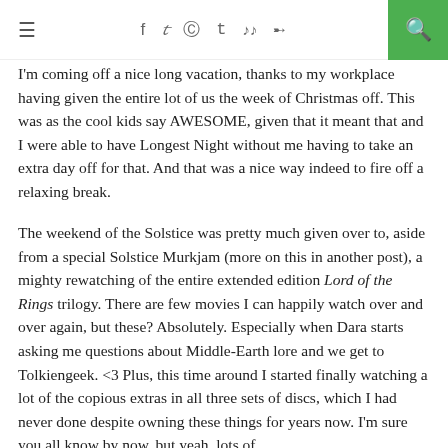≡  f  y   pinterest  t  soundcloud  rss  [search]
I'm coming off a nice long vacation, thanks to my workplace having given the entire lot of us the week of Christmas off. This was as the cool kids say AWESOME, given that it meant that and I were able to have Longest Night without me having to take an extra day off for that. And that was a nice way indeed to fire off a relaxing break.
The weekend of the Solstice was pretty much given over to, aside from a special Solstice Murkjam (more on this in another post), a mighty rewatching of the entire extended edition Lord of the Rings trilogy. There are few movies I can happily watch over and over again, but these? Absolutely. Especially when Dara starts asking me questions about Middle-Earth lore and we get to Tolkiengeek. <3 Plus, this time around I started finally watching a lot of the copious extras in all three sets of discs, which I had never done despite owning these things for years now. I'm sure you all know by now, but yeah, lots of